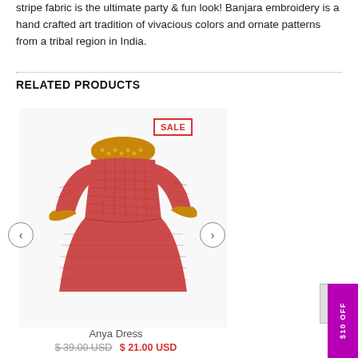stripe fabric is the ultimate party & fun look! Banjara embroidery is a hand crafted art tradition of vivacious colors and ornate patterns from a tribal region in India.
RELATED PRODUCTS
[Figure (photo): Red checkered children's dress with orange embroidered collar, long sleeves. A red SALE badge is shown in the top right. Navigation arrows on left and right sides.]
Anya Dress
$ 39.00 USD  $ 21.00 USD